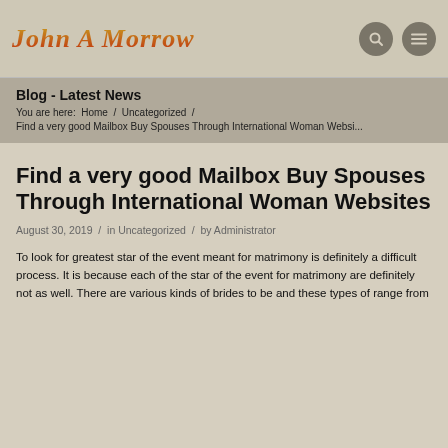John A Morrow
Blog - Latest News
You are here: Home / Uncategorized / Find a very good Mailbox Buy Spouses Through International Woman Websi...
Find a very good Mailbox Buy Spouses Through International Woman Websites
August 30, 2019 / in Uncategorized / by Administrator
To look for greatest star of the event meant for matrimony is definitely a difficult process. It is because each of the star of the event for matrimony are definitely not as well. There are various kinds of brides to be and these types of range from